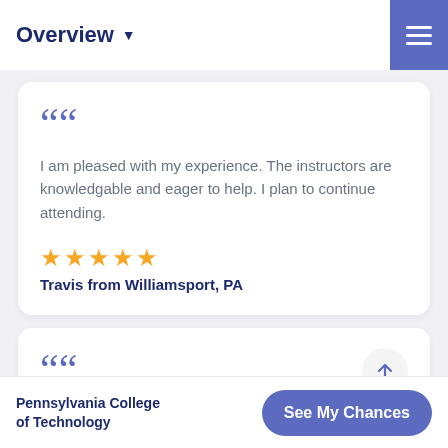Overview
I am pleased with my experience. The instructors are knowledgable and eager to help. I plan to continue attending.
★★★★★ Travis from Williamsport, PA
Pennsylvania College of Technology | See My Chances